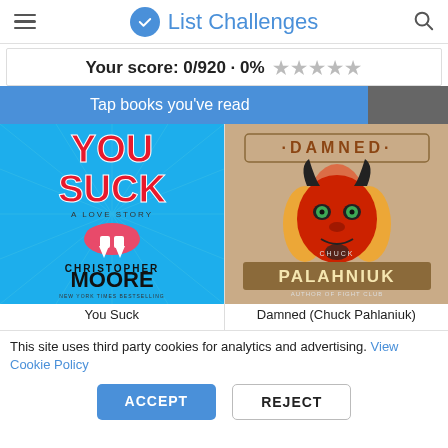List Challenges
Your score: 0/920 · 0% ★★★★★
Tap books you've read
[Figure (illustration): Book cover: You Suck - A Love Story by Christopher Moore (blue cover with vampire mouth and red text)]
[Figure (illustration): Book cover: Damned by Chuck Palahniuk (beige cover with devil face illustration)]
You Suck
Damned (Chuck Pahlaniuk)
This site uses third party cookies for analytics and advertising. View Cookie Policy
ACCEPT
REJECT